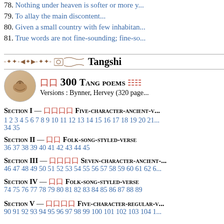78. Nothing under heaven is softer or more y...
79. To allay the main discontent...
80. Given a small country with few inhabitan...
81. True words are not fine-sounding; fine-so...
Tangshi
□□ 300 Tang poems — Versions: Bynner, Hervey (320 pages)
Section I — □□□□ Five-character-ancient-v...
1 2 3 4 5 6 7 8 9 10 11 12 13 14 15 16 17 18 19 20 21 ... 34 35
Section II — □□ Folk-song-styled-verse
36 37 38 39 40 41 42 43 44 45
Section III — □□□□ Seven-character-ancient-...
46 47 48 49 50 51 52 53 54 55 56 57 58 59 60 61 62 6...
Section IV — □□ Folk-song-styled-verse
74 75 76 77 78 79 80 81 82 83 84 85 86 87 88 89
Section V — □□□□ Five-character-regular-v...
90 91 92 93 94 95 96 97 98 99 100 101 102 103 104 1... 114 115 116 117 118 119 120 121 122 123 124 125 12... 135 136 137 138 139 140 141 142 143 144 145 14...